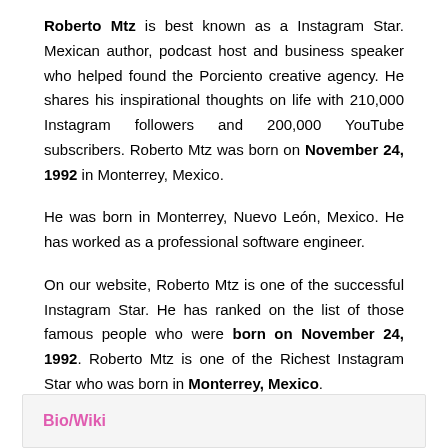Roberto Mtz is best known as a Instagram Star. Mexican author, podcast host and business speaker who helped found the Porciento creative agency. He shares his inspirational thoughts on life with 210,000 Instagram followers and 200,000 YouTube subscribers. Roberto Mtz was born on November 24, 1992 in Monterrey, Mexico.
He was born in Monterrey, Nuevo León, Mexico. He has worked as a professional software engineer.
On our website, Roberto Mtz is one of the successful Instagram Star. He has ranked on the list of those famous people who were born on November 24, 1992. Roberto Mtz is one of the Richest Instagram Star who was born in Monterrey, Mexico.
Bio/Wiki